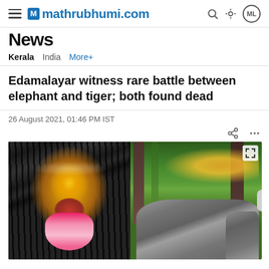mathrubhumi.com
News
Kerala   India   More+
Edamalayar witness rare battle between elephant and tiger; both found dead
26 August 2021, 01:46 PM IST
[Figure (photo): Two-panel image: left panel shows a close-up of a tiger's face with mouth open and tongue out; right panel shows elephants in a forest setting with trees.]